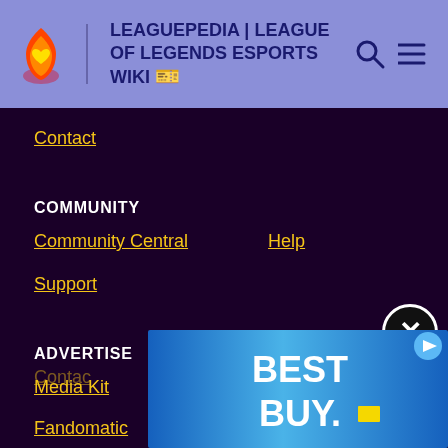LEAGUEPEDIA | LEAGUE OF LEGENDS ESPORTS WIKI
Contact
COMMUNITY
Community Central
Help
Support
ADVERTISE
Media Kit
Fandomatic
Contact
[Figure (screenshot): Best Buy advertisement banner with blue gradient background and white bold text reading BEST BUY with a yellow rectangle accent]